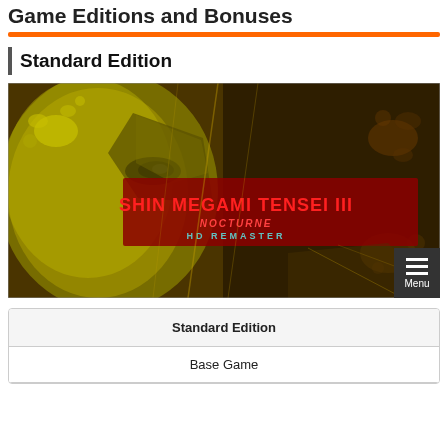Game Editions and Bonuses
Standard Edition
[Figure (photo): Key art for Shin Megami Tensei III Nocturne HD Remaster, showing a stylized face with yellow-green tones and the game logo in red text, with a Menu button overlay in bottom right.]
| Standard Edition |
| --- |
| Base Game |